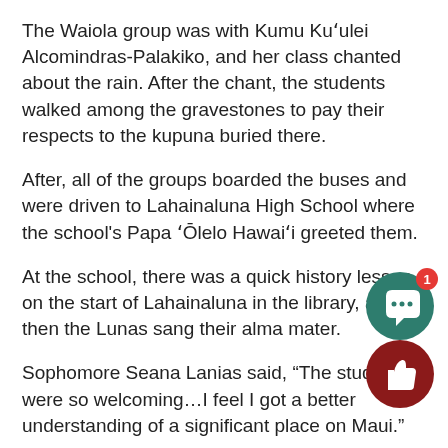The Waiola group was with Kumu Kuʻulei Alcomindras-Palakiko, and her class chanted about the rain. After the chant, the students walked among the gravestones to pay their respects to the kupuna buried there.
After, all of the groups boarded the buses and were driven to Lahainaluna High School where the school's Papa ʻŌlelo Hawaiʻi greeted them.
At the school, there was a quick history lesson on the start of Lahainaluna in the library, and then the Lunas sang their alma mater.
Sophomore Seana Lanias said, “The students were so welcoming…I feel I got a better understanding of a significant place on Maui.”
Then student volunteers gave KS Maui students a campus to where they pointed out culturally significant buildings.
At the end of the day, the students once again piled into the bu